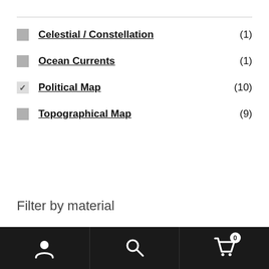Celestial / Constellation (1)
Ocean Currents (1)
Political Map (10)
Topographical Map (9)
Filter by material
100% Reclaimed Paper Fiber (7)
Acrylic Sphere (3)
Navigation bar with user, search, and cart icons